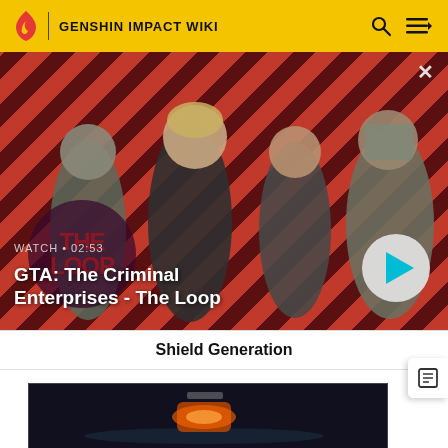GENSHIN IMPACT WIKI
[Figure (screenshot): Video banner with diagonal red/dark red stripes, four video game characters, 'THE LOOP' text overlay, play button, and video metadata]
WATCH • 02:53
GTA: The Criminal Enterprises - The Loop
Shield Generation
[Figure (screenshot): Dark game screenshot showing a glowing object or machine in a dark environment]